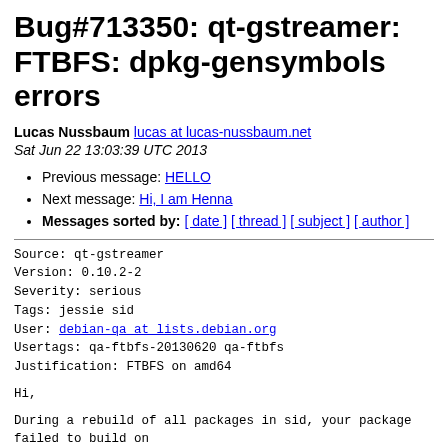Bug#713350: qt-gstreamer: FTBFS: dpkg-gensymbols errors
Lucas Nussbaum lucas at lucas-nussbaum.net
Sat Jun 22 13:03:39 UTC 2013
Previous message: HELLO
Next message: Hi, I am Henna
Messages sorted by: [ date ] [ thread ] [ subject ] [ author ]
Source: qt-gstreamer
Version: 0.10.2-2
Severity: serious
Tags: jessie sid
User: debian-qa at lists.debian.org
Usertags: qa-ftbfs-20130620 qa-ftbfs
Justification: FTBFS on amd64
Hi,
During a rebuild of all packages in sid, your package failed to build on